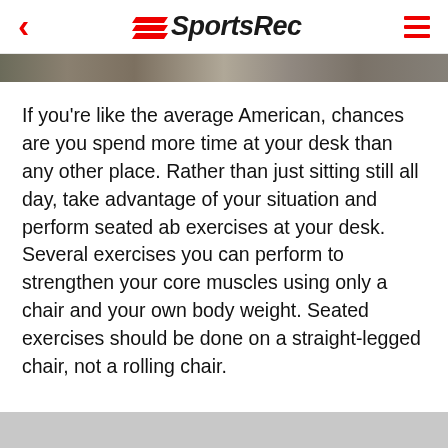SportsRec
[Figure (photo): Partial image strip visible at top of article page]
If you're like the average American, chances are you spend more time at your desk than any other place. Rather than just sitting still all day, take advantage of your situation and perform seated ab exercises at your desk. Several exercises you can perform to strengthen your core muscles using only a chair and your own body weight. Seated exercises should be done on a straight-legged chair, not a rolling chair.